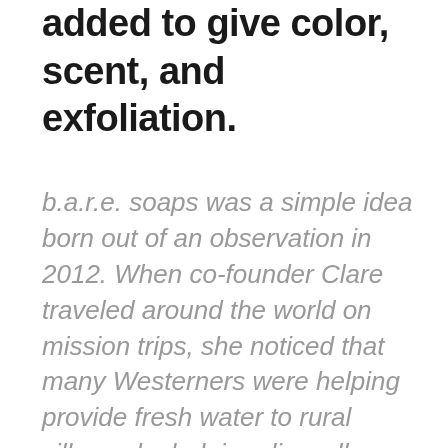added to give color, scent, and exfoliation.
b.a.r.e. soaps was a simple idea born out of an observation in 2012. When co-founder Clare traveled around the world on mission trips, she noticed that many Westerners were helping provide fresh water to rural villages by helping dig wells. However, there was never a follow up of sanitation. So what if